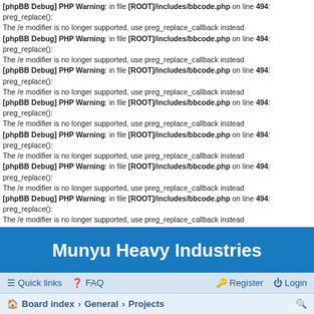[phpBB Debug] PHP Warning: in file [ROOT]/includes/bbcode.php on line 494: preg_replace(): The /e modifier is no longer supported, use preg_replace_callback instead (repeated multiple times)
Munyu Heavy Industries
Quick links  FAQ  Register  Login
Board index › General › Projects
Release: [Jinsukeya] Mesu Kachou Jogeza
Moderators: uanime5, KiTA, Munyu Staff
[phpBB Debug] PHP Warning: in file [ROOT]/vendor/twig/twig/lib/Twig/Extension/Core.php on line 1266: count(): Parameter must be an array or an object that implements Countable
1 post [phpBB Debug] PHP Warning: in file [ROOT]/vendor/twig/twig/lib/Twig/Extension/Core.php on line 1266: count(): Parameter must be an array or an object that implements Countable
• Page 1 of 1